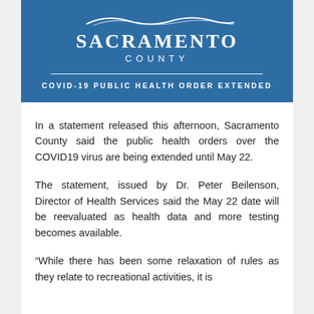[Figure (logo): Sacramento County logo and COVID-19 Public Health Order Extended banner — blue background with white Sacramento County logo, decorative wave, horizontal divider, and subtitle text 'COVID-19 PUBLIC HEALTH ORDER EXTENDED']
In a statement released this afternoon, Sacramento County said the public health orders over the COVID19 virus are being extended until May 22.
The statement, issued by Dr. Peter Beilenson, Director of Health Services said the May 22 date will be reevaluated as health data and more testing becomes available.
“While there has been some relaxation of rules as they relate to recreational activities, it is